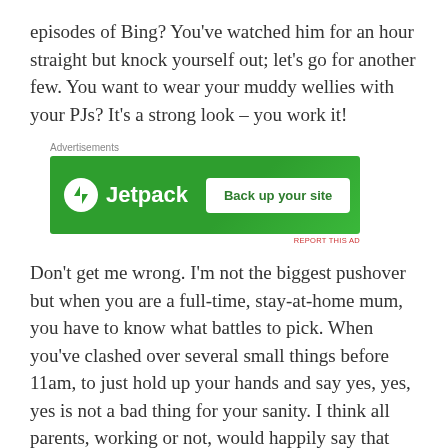episodes of Bing? You've watched him for an hour straight but knock yourself out; let's go for another few. You want to wear your muddy wellies with your PJs? It's a strong look – you work it!
[Figure (screenshot): Jetpack advertisement banner with green background showing Jetpack logo and 'Back up your site' button]
Don't get me wrong. I'm not the biggest pushover but when you are a full-time, stay-at-home mum, you have to know what battles to pick. When you've clashed over several small things before 11am, to just hold up your hands and say yes, yes, yes is not a bad thing for your sanity. I think all parents, working or not, would happily say that there's a time and a place for giving in.